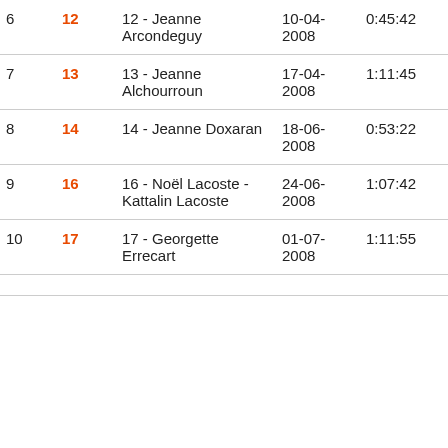| Rank | No. | Name | Date | Time | Club |
| --- | --- | --- | --- | --- | --- |
| 6 | 12 | 12 - Jeanne Arcondeguy | 10-04-2008 | 0:45:42 | L C |
| 7 | 13 | 13 - Jeanne Alchourroun | 17-04-2008 | 1:11:45 | A S |
| 8 | 14 | 14 - Jeanne Doxaran | 18-06-2008 | 0:53:22 | S |
| 9 | 16 | 16 - Noël Lacoste - Kattalin Lacoste | 24-06-2008 | 1:07:42 | II |
| 10 | 17 | 17 - Georgette Errecart | 01-07-2008 | 1:11:55 | A S |